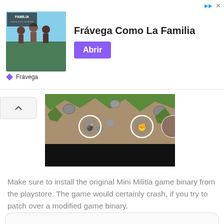[Figure (illustration): Advertisement banner for Frávega featuring a group of people and the text 'Frávega Como La Familia' with a purple 'Abrir' button and Frávega branding below.]
[Figure (screenshot): Game screenshot from Mini Militia showing top-down view with green thorny terrain, rocks, grenade and fist weapon icons on brownish background, with a black bar at the bottom.]
Make sure to install the original Mini Militia game binary from the playstore. The game would certainly crash, if you try to patch over a modified game binary.
Downloads